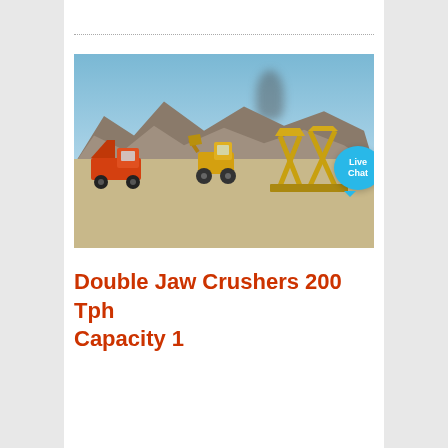[Figure (photo): Outdoor mining/quarry scene showing a large orange dump truck on the left, a yellow front-end loader in the center loading material into the truck, and yellow jaw crusher/screening equipment on the right. Mountains visible in the background under a blue sky with dark smoke rising.]
Double Jaw Crushers 200 Tph Capacity 1